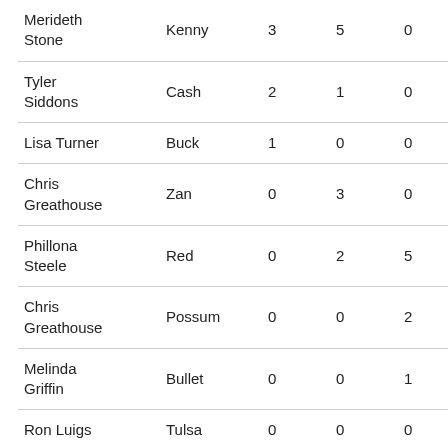| Merideth Stone | Kenny | 3 | 5 | 0 |
| Tyler Siddons | Cash | 2 | 1 | 0 |
| Lisa Turner | Buck | 1 | 0 | 0 |
| Chris Greathouse | Zan | 0 | 3 | 0 |
| Phillona Steele | Red | 0 | 2 | 5 |
| Chris Greathouse | Possum | 0 | 0 | 2 |
| Melinda Griffin | Bullet | 0 | 0 | 1 |
| Ron Luigs | Tulsa | 0 | 0 | 0 |